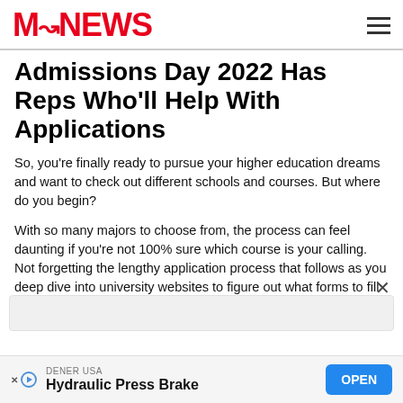M-NEWS
Admissions Day 2022 Has Reps Who'll Help With Applications
So, you're finally ready to pursue your higher education dreams and want to check out different schools and courses. But where do you begin?
With so many majors to choose from, the process can feel daunting if you're not 100% sure which course is your calling. Not forgetting the lengthy application process that follows as you deep dive into university websites to figure out what forms to fill and submit.
[Figure (other): Advertisement banner for DENER USA Hydraulic Press Brake with OPEN button]
DENER USA — Hydraulic Press Brake — OPEN